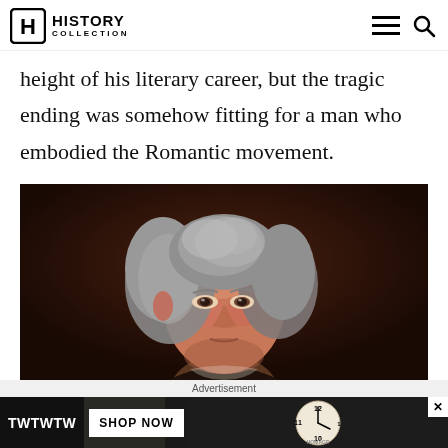HISTORY COLLECTION
height of his literary career, but the tragic ending was somehow fitting for a man who embodied the Romantic movement.
[Figure (photo): Portrait painting of an elderly man with grey hair against a dark brown background, depicted in classical style.]
Advertisement
[Figure (screenshot): Advertisement banner showing TWTWTW brand with 'SHOP NOW' button and a clock image with HOMAGE branding.]